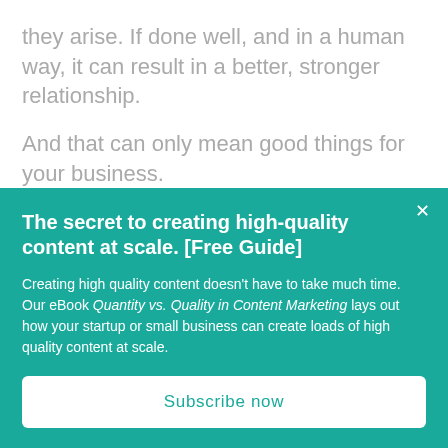they arise. If done well, and in a human way, it can result in a better, stronger relationship.
And that can only mean good things for your business.
The secret to creating high-quality content at scale. [Free Guide]
Creating high quality content doesn't have to take much time. Our eBook Quantity vs. Quality in Content Marketing lays out how your startup or small business can create loads of high quality content at scale.
Subscribe now